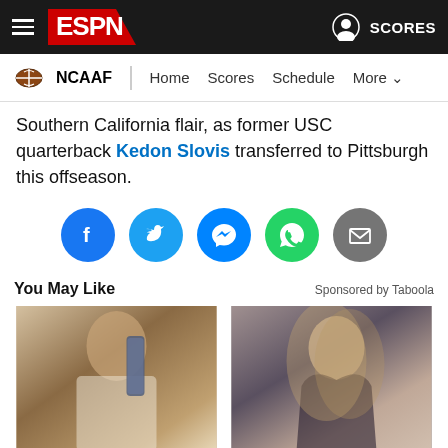ESPN - NCAAF navigation bar with Home, Scores, Schedule, More
Southern California flair, as former USC quarterback Kedon Slovis transferred to Pittsburgh this offseason.
[Figure (other): Social sharing icons row: Facebook, Twitter, Messenger, WhatsApp, Email]
You May Like — Sponsored by Taboola
[Figure (photo): Advertisement: Man holding a product - Farewell Eyebags, Goodbye Dark Spots - Men Can't Get Enough o...]
[Figure (photo): Advertisement: Woman with hair - Check Out These G-strings Sets (Look) - G String Panties]